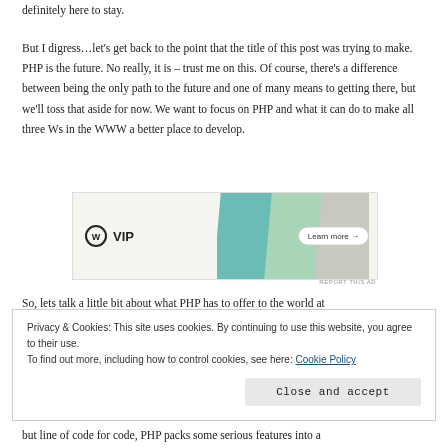definitely here to stay.
But I digress…let's get back to the point that the title of this post was trying to make. PHP is the future. No really, it is – trust me on this. Of course, there's a difference between being the only path to the future and one of many means to getting there, but we'll toss that aside for now. We want to focus on PHP and what it can do to make all three Ws in the WWW a better place to develop.
[Figure (illustration): WordPress VIP advertisement banner with colorful card graphics and 'Learn more →' button]
So, lets talk a little bit about what PHP has to offer to the world at
Privacy & Cookies: This site uses cookies. By continuing to use this website, you agree to their use.
To find out more, including how to control cookies, see here: Cookie Policy
Close and accept
but line of code for code, PHP packs some serious features into a